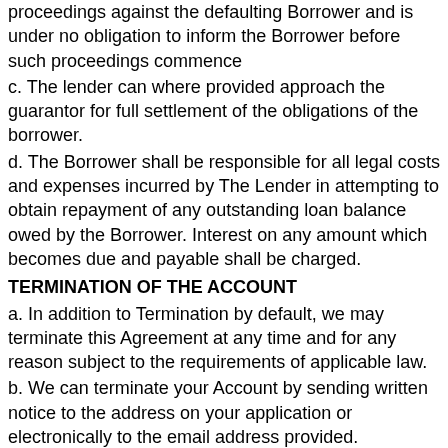proceedings against the defaulting Borrower and is under no obligation to inform the Borrower before such proceedings commence
c. The lender can where provided approach the guarantor for full settlement of the obligations of the borrower.
d. The Borrower shall be responsible for all legal costs and expenses incurred by The Lender in attempting to obtain repayment of any outstanding loan balance owed by the Borrower. Interest on any amount which becomes due and payable shall be charged.
TERMINATION OF THE ACCOUNT
a. In addition to Termination by default, we may terminate this Agreement at any time and for any reason subject to the requirements of applicable law.
b. We can terminate your Account by sending written notice to the address on your application or electronically to the email address provided.
c. If there is no debit or credit on this Account for twelve (12) consecutive months, we may terminate this Agreement with...